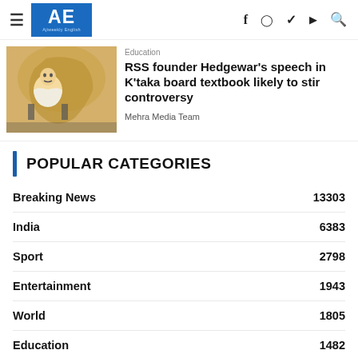AE Ajiweekly English — navigation header with hamburger menu, logo, and social icons (f, Instagram, Twitter, YouTube, Search)
Education
RSS founder Hedgewar's speech in K'taka board textbook likely to stir controversy
Mehra Media Team
POPULAR CATEGORIES
| Category | Count |
| --- | --- |
| Breaking News | 13303 |
| India | 6383 |
| Sport | 2798 |
| Entertainment | 1943 |
| World | 1805 |
| Education | 1482 |
| Business | 1053 |
| Tech | 1044 |
| Video | 719 |